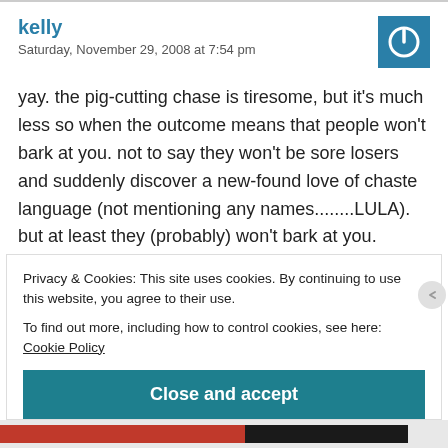kelly
Saturday, November 29, 2008 at 7:54 pm
[Figure (logo): Blue square icon with white power/circle symbol]
yay. the pig-cutting chase is tiresome, but it's much less so when the outcome means that people won't bark at you. not to say they won't be sore losers and suddenly discover a new-found love of chaste language (not mentioning any names........LULA). but at least they (probably) won't bark at you.
Privacy & Cookies: This site uses cookies. By continuing to use this website, you agree to their use.
To find out more, including how to control cookies, see here: Cookie Policy
Close and accept